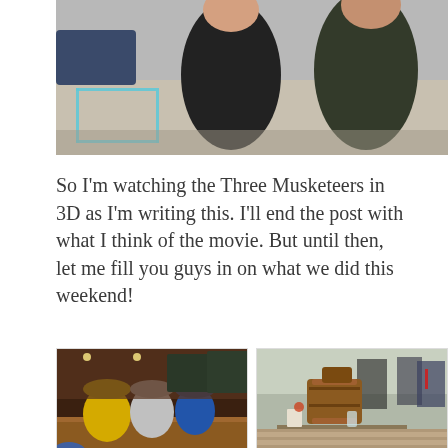[Figure (photo): Outdoor photo showing two people from behind standing in a parking lot with blue painted markings on the ground. One person wears a black shirt, another wears a dark jacket.]
So I'm watching the Three Musketeers in 3D as I'm writing this. I'll end the post with what I think of the movie. But until then, let me fill you guys in on what we did this weekend!
[Figure (photo): Interior bar photo showing beer kegs and taps lined up on a bar counter with bottles and a chalkboard menu in the background.]
[Figure (photo): Outdoor beer festival scene with wooden barrels on a table, people seated and standing around, some wearing lanyards.]
[Figure (photo): Outdoor scene showing a man seated at a table under white umbrellas.]
[Figure (photo): Outdoor parking lot scene with people and cars in background, trees visible.]